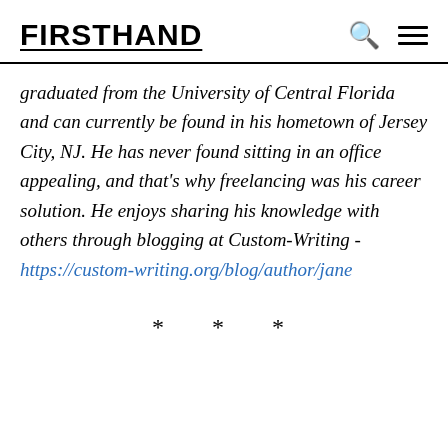FIRSTHAND
graduated from the University of Central Florida and can currently be found in his hometown of Jersey City, NJ. He has never found sitting in an office appealing, and that's why freelancing was his career solution. He enjoys sharing his knowledge with others through blogging at Custom-Writing - https://custom-writing.org/blog/author/jane
* * *